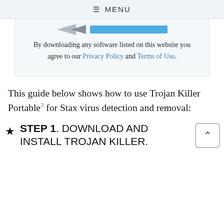≡ MENU
[Figure (screenshot): Partial screenshot showing a download button area with an arrow graphic and blue bar]
By downloading any software listed on this website you agree to our Privacy Policy and Terms of Use.
This guide below shows how to use Trojan Killer Portable³ for Stax virus detection and removal:
★ STEP 1. DOWNLOAD AND INSTALL TROJAN KILLER.